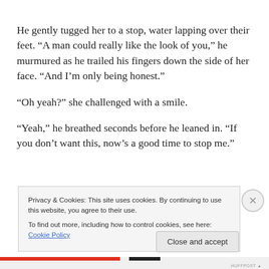He gently tugged her to a stop, water lapping over their feet. “A man could really like the look of you,” he murmured as he trailed his fingers down the side of her face. “And I’m only being honest.”
“Oh yeah?” she challenged with a smile.
“Yeah,” he breathed seconds before he leaned in. “If you don’t want this, now’s a good time to stop me.”
Privacy & Cookies: This site uses cookies. By continuing to use this website, you agree to their use.
To find out more, including how to control cookies, see here: Cookie Policy
Close and accept